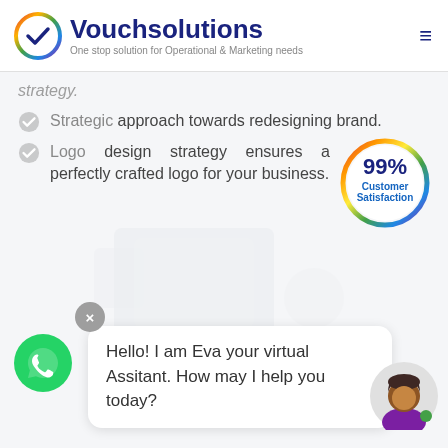Vouchsolutions — One stop solution for Operational & Marketing needs
strategy.
Strategic approach towards redesigning brand.
Logo design strategy ensures a perfectly crafted logo for your business.
[Figure (infographic): 99% Customer Satisfaction badge with rainbow circular border]
[Figure (illustration): Faded watermark illustration of chat/dialog boxes in background]
[Figure (illustration): WhatsApp green phone icon button in bottom left]
Hello! I am Eva your virtual Assitant. How may I help you today?
[Figure (illustration): Female avatar/assistant icon in bottom right corner]